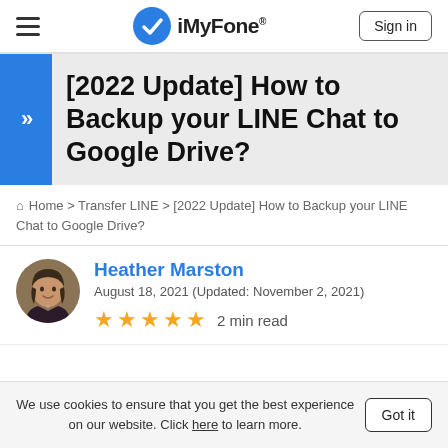iMyFone® — Sign in
[2022 Update] How to Backup your LINE Chat to Google Drive?
Home > Transfer LINE > [2022 Update] How to Backup your LINE Chat to Google Drive?
Heather Marston
August 18, 2021 (Updated: November 2, 2021)
★★★★★ 2 min read
We use cookies to ensure that you get the best experience on our website. Click here to learn more. Got it